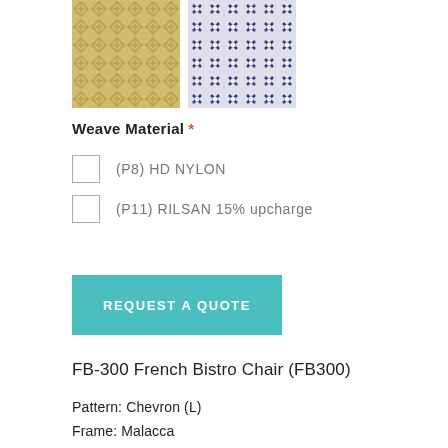[Figure (photo): Two fabric swatch photos side by side: left is a yellow/gold diamond weave pattern, right is a navy blue cross/floral weave pattern on white background]
Weave Material *
(P8) HD NYLON
(P11) RILSAN 15% upcharge
REQUEST A QUOTE
FB-300 French Bistro Chair (FB300)
Pattern: Chevron (L)
Frame: Malacca
Background: 03 Ivory (Nylon)
Accent: 16 Dark Green (Nylon)